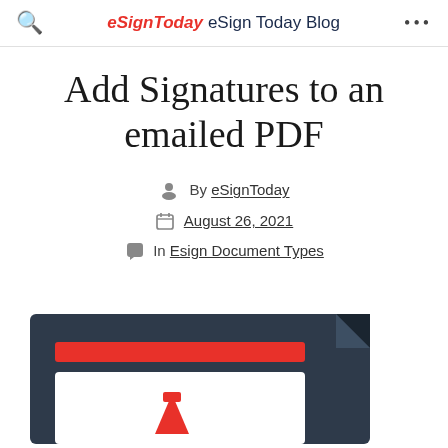eSign Today eSign Today Blog
Add Signatures to an emailed PDF
By eSignToday
August 26, 2021
In Esign Document Types
[Figure (illustration): Illustration of a document/PDF with a red highlighted bar and a red pen icon, shown in dark navy/charcoal style]